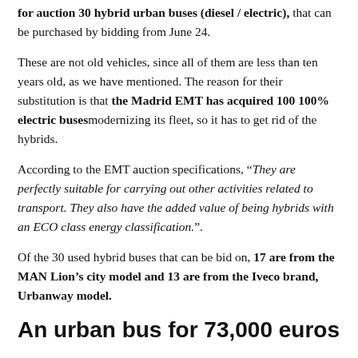for auction 30 hybrid urban buses (diesel / electric), that can be purchased by bidding from June 24.
These are not old vehicles, since all of them are less than ten years old, as we have mentioned. The reason for their substitution is that the Madrid EMT has acquired 100 100% electric buses modernizing its fleet, so it has to get rid of the hybrids.
According to the EMT auction specifications, “They are perfectly suitable for carrying out other activities related to transport. They also have the added value of being hybrids with an ECO class energy classification.”.
Of the 30 used hybrid buses that can be bid on, 17 are from the MAN Lion’s city model and 13 are from the Iveco brand, Urbanway model.
An urban bus for 73,000 euros